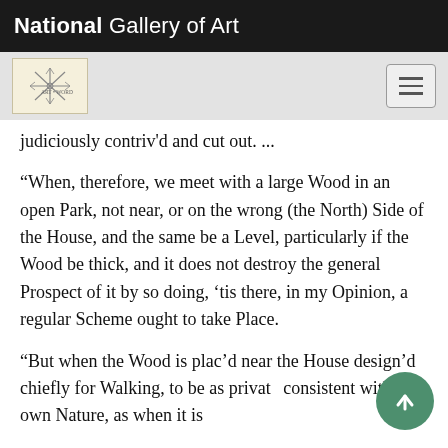National Gallery of Art
judiciously contriv'd and cut out. ...
“When, therefore, we meet with a large Wood in an open Park, not near, or on the wrong (the North) Side of the House, and the same be a Level, particularly if the Wood be thick, and it does not destroy the general Prospect of it by so doing, ’tis there, in my Opinion, a regular Scheme ought to take Place.
“But when the Wood is plac’d near the House design’d chiefly for Walking, to be as private consistent with its own Nature, as when it is